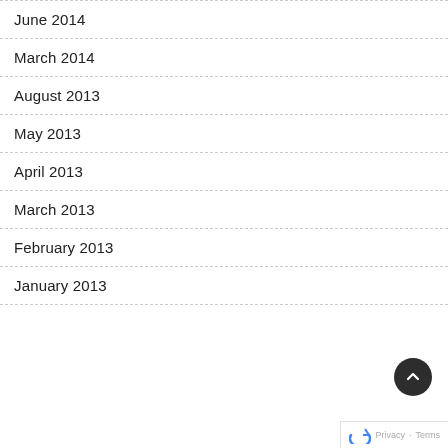June 2014
March 2014
August 2013
May 2013
April 2013
March 2013
February 2013
January 2013